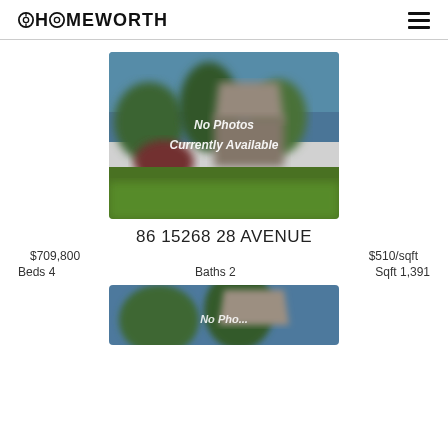HOMEWORTH
[Figure (photo): Blurred house exterior with text overlay 'No Photos Currently Available']
86 15268 28 AVENUE
$709,800   $510/sqft
Beds 4   Baths 2   Sqft 1,391
[Figure (photo): Blurred house exterior, second listing, partial view]